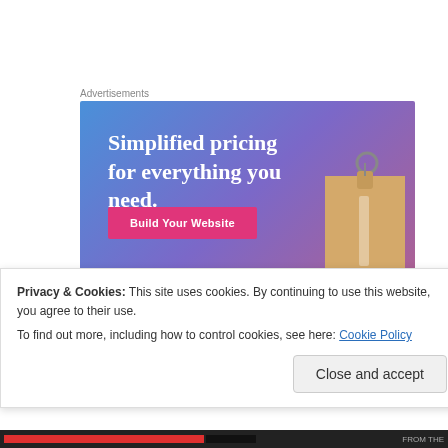Advertisements
[Figure (illustration): Advertisement banner with blue-to-purple gradient background. Text reads 'Simplified pricing for everything you need.' with a pink 'Build Your Website' button and a price tag illustration on the right.]
9. Have a great week and enjoy the last days of summer!
Privacy & Cookies: This site uses cookies. By continuing to use this website, you agree to their use.
To find out more, including how to control cookies, see here: Cookie Policy
Close and accept